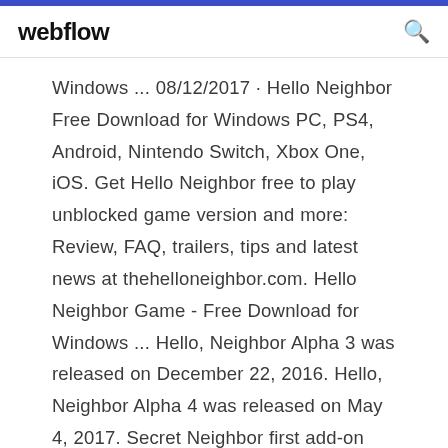webflow
Windows ... 08/12/2017 · Hello Neighbor Free Download for Windows PC, PS4, Android, Nintendo Switch, Xbox One, iOS. Get Hello Neighbor free to play unblocked game version and more: Review, FAQ, trailers, tips and latest news at thehelloneighbor.com. Hello Neighbor Game - Free Download for Windows ... Hello, Neighbor Alpha 3 was released on December 22, 2016. Hello, Neighbor Alpha 4 was released on May 4, 2017. Secret Neighbor first add-on was released on June 2018 It's a multiplayer horror game that takes place between Alpha 1 and Alpha 2 of Hello Neighbor. Games of Hello Neighbor Universe. Hello Neighbor: Hide and Seek is the prequel to the Hello, Neighbor!